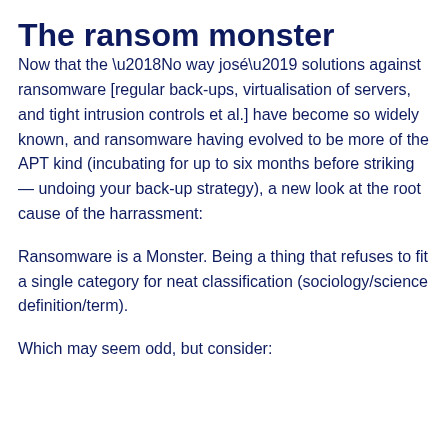The ransom monster
Now that the ‘No way josé’ solutions against ransomware [regular back-ups, virtualisation of servers, and tight intrusion controls et al.] have become so widely known, and ransomware having evolved to be more of the APT kind (incubating for up to six months before striking — undoing your back-up strategy), a new look at the root cause of the harrassment:
Ransomware is a Monster. Being a thing that refuses to fit a single category for neat classification (sociology/science definition/term).
Which may seem odd, but consider: